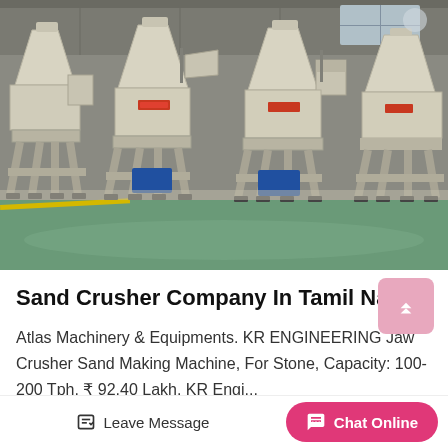[Figure (photo): Industrial sand crusher machines (VSI vertical shaft impact crushers) in cream/beige color arranged in a row inside a factory/warehouse with green-tinted floor and industrial ceiling]
Sand Crusher Company In Tamil Nadu
Atlas Machinery & Equipments. KR ENGINEERING Jaw Crusher Sand Making Machine, For Stone, Capacity: 100-200 Tph. ₹ 92.40 Lakh. KR Engi...